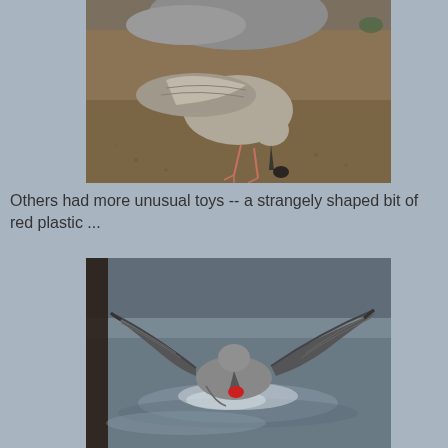[Figure (photo): A shorebird (sandpiper-type) standing on sandy beach, bending its head down toward the ground, with wings partially visible from another bird above. Brown/grey sandy background.]
Others had more unusual toys -- a strangely shaped bit of red plastic ...
[Figure (photo): A gull landing on water with wings spread wide, holding a small red piece of plastic in its beak. Dark water surface with ripples and a wooden post visible on the left.]